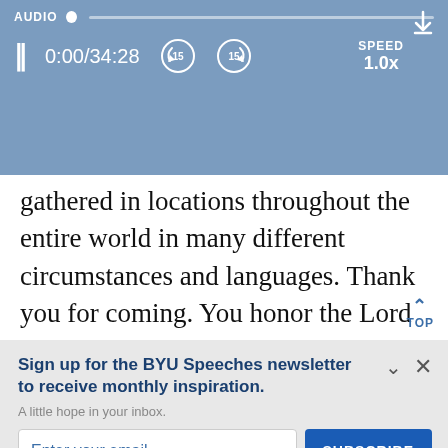[Figure (screenshot): Audio player interface with blue background showing pause button, time display 0:00/34:28, skip back 15s button, skip forward 15s button, SPEED 1.0x control, and download icon]
gathered in locations throughout the entire world in many different circumstances and languages. Thank you for coming. You honor the Lord Jesus Christ by putting aside othe matters in your lives to join together at th.
Sign up for the BYU Speeches newsletter to receive monthly inspiration.
A little hope in your inbox.
Enter your email
SUBSCRIBE